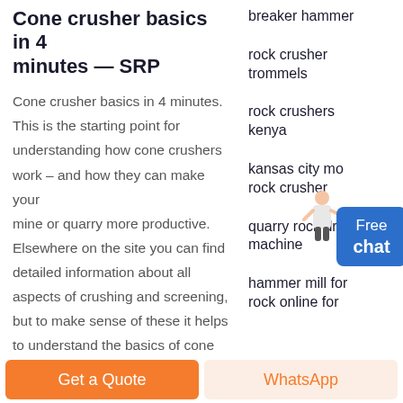Cone crusher basics in 4 minutes — SRP
Cone crusher basics in 4 minutes. This is the starting point for understanding how cone crushers work – and how they can make your mine or quarry more productive. Elsewhere on the site you can find detailed information about all aspects of crushing and screening, but to make sense of these it helps to understand the basics of cone crushing.
breaker hammer
rock crusher trommels
rock crushers kenya
kansas city mo rock crusher
quarry rock drill machine
hammer mill for rock online for